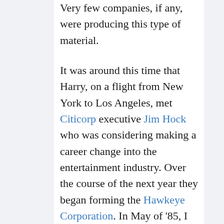Very few companies, if any, were producing this type of material.
It was around this time that Harry, on a flight from New York to Los Angeles, met Citicorp executive Jim Hock who was considering making a career change into the entertainment industry. Over the course of the next year they began forming the Hawkeye Corporation. In May of '85, I went back to New York with Harry (where he was living at the time) for a visit and to see family on Long Island as well. Jim Hock was also living on Long Island - in fact all three of us, at one time or another, lived in Bayport.
I had previously discussed our plans for Elegant Greetings and when I stopped by to see him, I played our demo of "If" and "One Solitary Life." Obviously impressed...